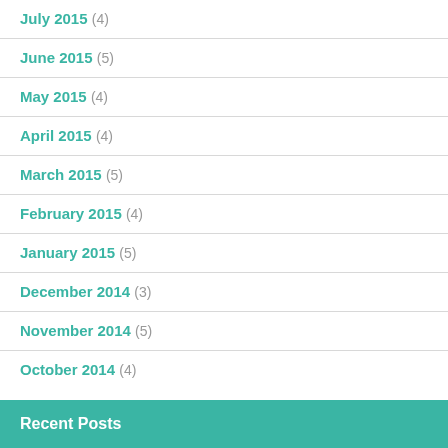July 2015 (4)
June 2015 (5)
May 2015 (4)
April 2015 (4)
March 2015 (5)
February 2015 (4)
January 2015 (5)
December 2014 (3)
November 2014 (5)
October 2014 (4)
Recent Posts